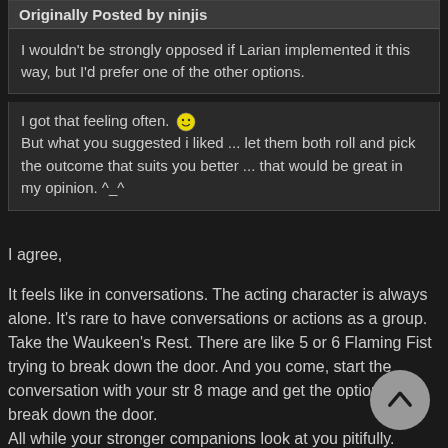Originally Posted by ninjis
I wouldn't be strongly opposed if Larian implemented it this way, but I'd prefer one of the other options.
I got that feeling often. :) But what you suggested i liked ... let them both roll and pick the outcome that suits you better ... that would be great in my opinion. ^_^
I agree,
It feels like in conversations. The acting character is always alone. It's rare to have conversations or actions as a group. Take the Waukeen's Rest. There are like 5 or 6 Flaming Fist trying to break down the door. And you come, start the conversation with your str 8 mage and get the option to break down the door.
All while your stronger companions look at you pitifully.
I would (as i did in conversations) to treat the group more like one character. I have 2 ideas for that (and hope it has not been mentioned since i did not read the whole post :D)
1: Take all applicable boni and roll. Example on above mentioned str check: We have 4 chars with str 10 (+0); Str 17 (+3); Str 12 (+1); Str 8 (-1). That would make a roll with a +3 Modifier. If you take negative into